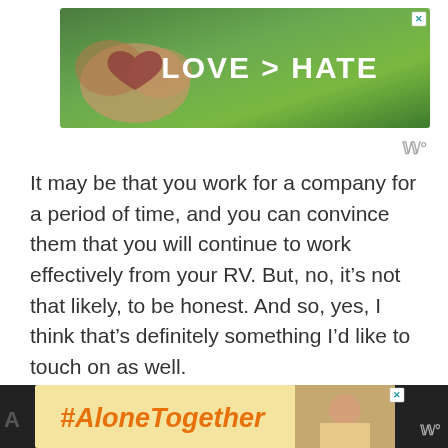[Figure (photo): Advertisement banner with hands forming a heart shape against green background, text reads LOVE > HATE in white bold letters, with a close X button]
It may be that you work for a company for a period of time, and you can convince them that you will continue to work effectively from your RV. But, no, it’s not that likely, to be honest. And so, yes, I think that’s definitely something I’d like to touch on as well.
[Figure (photo): Advertisement banner with #AloneTogether text in orange italic on yellow background, with a photo of a woman and a close X button, and Wordmark logo]